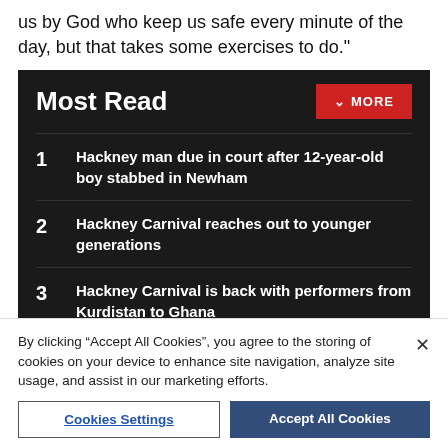us by God who keep us safe every minute of the day, but that takes some exercises to do."
Most Read
Hackney man due in court after 12-year-old boy stabbed in Newham
Hackney Carnival reaches out to younger generations
Hackney Carnival is back with performers from Kurdistan to Ghana
Receive the top news, sport and things to do, sent to your
By clicking “Accept All Cookies”, you agree to the storing of cookies on your device to enhance site navigation, analyze site usage, and assist in our marketing efforts.
Cookies Settings
Accept All Cookies